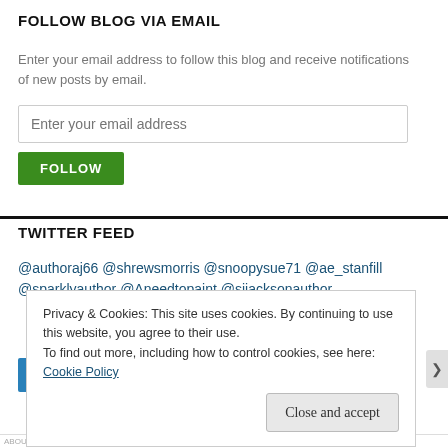FOLLOW BLOG VIA EMAIL
Enter your email address to follow this blog and receive notifications of new posts by email.
Enter your email address
FOLLOW
TWITTER FEED
@authoraj66 @shrewsmorris @snoopysue71 @ae_stanfill @sparklyauthor @Aneedtopaint @sjjacksonauthor
Privacy & Cookies: This site uses cookies. By continuing to use this website, you agree to their use.
To find out more, including how to control cookies, see here: Cookie Policy
Close and accept